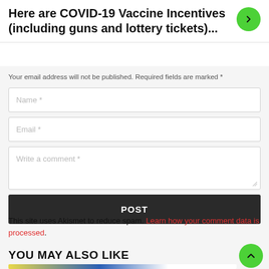Here are COVID-19 Vaccine Incentives (including guns and lottery tickets)...
Your email address will not be published. Required fields are marked *
Name *
Email *
Write a comment *
POST
This site uses Akismet to reduce spam. Learn how your comment data is processed.
YOU MAY ALSO LIKE
[Figure (photo): Partial image of books or colorful items visible at bottom of page]